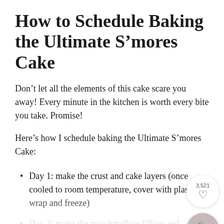How to Schedule Baking the Ultimate S’mores Cake
Don’t let all the elements of this cake scare you away! Every minute in the kitchen is worth every bite you take. Promise!
Here’s how I schedule baking the Ultimate S’mores Cake:
Day 1: make the crust and cake layers (once cooled to room temperature, cover with plastic wrap and freeze)
Day 2: make the marshmallow filling and chocolate buttercream (store each in airtight containers in the refrigerator and bring back to room temperature before assembling)